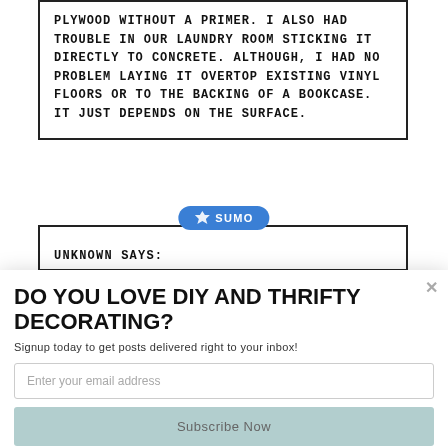PLYWOOD WITHOUT A PRIMER. I ALSO HAD TROUBLE IN OUR LAUNDRY ROOM STICKING IT DIRECTLY TO CONCRETE. ALTHOUGH, I HAD NO PROBLEM LAYING IT OVERTOP EXISTING VINYL FLOORS OR TO THE BACKING OF A BOOKCASE. IT JUST DEPENDS ON THE SURFACE.
[Figure (logo): SUMO badge with crown icon in blue rounded pill]
UNKNOWN SAYS:
DO YOU LOVE DIY AND THRIFTY DECORATING?
Signup today to get posts delivered right to your inbox!